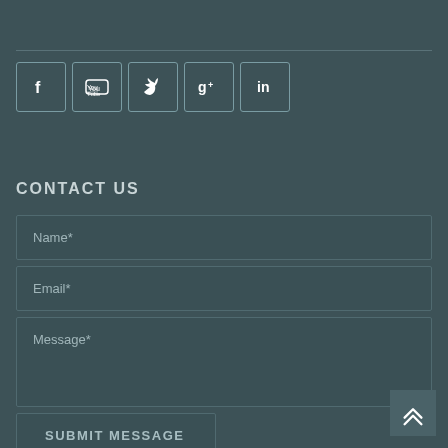[Figure (infographic): Social media icon row: Facebook, YouTube, Twitter, Google+, LinkedIn — each in a rounded square outline border]
CONTACT US
[Figure (infographic): Contact form with fields: Name*, Email*, Message*, and a SUBMIT MESSAGE button]
[Figure (other): Back to top button with double chevron up arrow, bottom right corner]